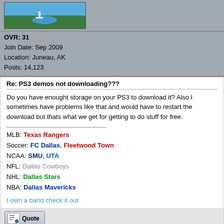[Figure (illustration): Green avatar image showing a cartoon outdoor scene with a figure near a pond on grass background with sky]
OVR: 31
Join Date: Sep 2009
Location: Juneau, AK
Posts: 14,123
Re: PS3 demos not downloading???
Do you have enought storage on your PS3 to download it? Also I sometimes have problems like that and would have to restart the download but thats what we get for getting to do stuff for free.
MLB: Texas Rangers
Soccer: FC Dallas, Fleetwood Town
NCAA: SMU, UTA
NFL: Dallas Cowboys
NHL: Dallas Stars
NBA: Dallas Mavericks
I own a band check it out
[Figure (other): Quote button with pencil/paper icon]
04-30-2010, 04:45 PM
Whitesox
Closet pyromaniac